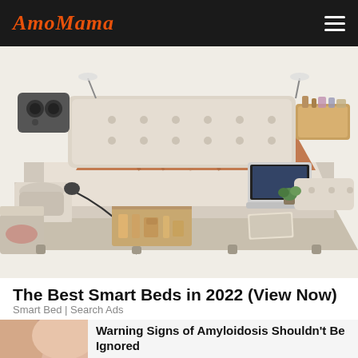AmoMama
[Figure (photo): A large multifunctional smart bed with a massage chair, storage drawers, speakers, laptop, and various accessories displayed in an exploded product view against a light background.]
The Best Smart Beds in 2022 (View Now)
Smart Bed | Search Ads
[Figure (photo): Thumbnail image of a person's arm/shoulder skin, suggesting a medical advertisement.]
Warning Signs of Amyloidosis Shouldn't Be Ignored